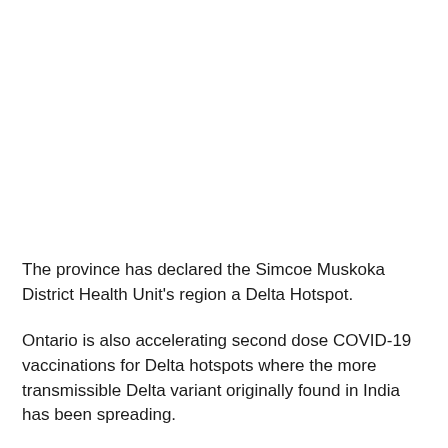The province has declared the Simcoe Muskoka District Health Unit's region a Delta Hotspot.
Ontario is also accelerating second dose COVID-19 vaccinations for Delta hotspots where the more transmissible Delta variant originally found in India has been spreading.